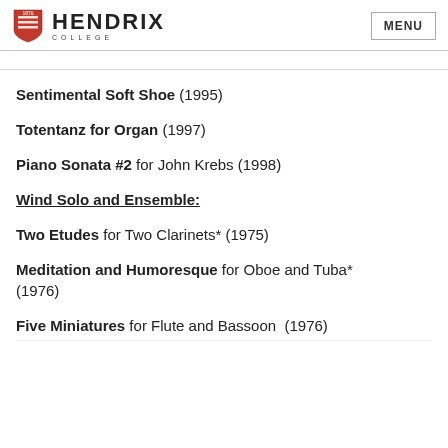Hendrix College — MENU
[truncated navigation text]
Sentimental Soft Shoe (1995)
Totentanz for Organ (1997)
Piano Sonata #2 for John Krebs (1998)
Wind Solo and Ensemble:
Two Etudes for Two Clarinets* (1975)
Meditation and Humoresque for Oboe and Tuba* (1976)
Five Miniatures for Flute and Bassoon (1976)